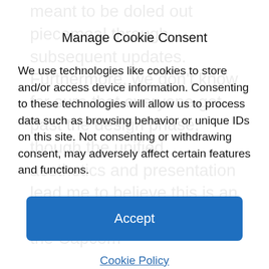meant to be doled out piecemeal through subsequent updates. Furthermore, we don't know for sure that everyone got past the design phase, though the unified aesthetics and presentation lead me to believe this is an internal asset that escaped the Capcom
Manage Cookie Consent
We use technologies like cookies to store and/or access device information. Consenting to these technologies will allow us to process data such as browsing behavior or unique IDs on this site. Not consenting or withdrawing consent, may adversely affect certain features and functions.
Accept
Cookie Policy